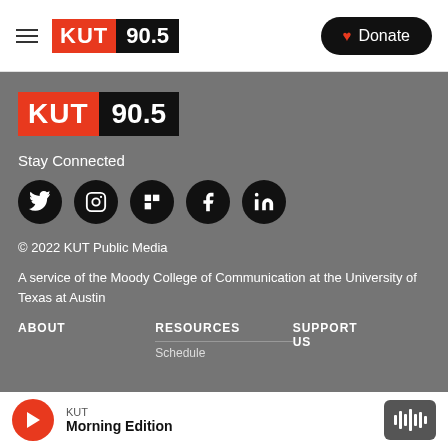[Figure (logo): KUT 90.5 radio station logo in the header navigation bar]
Donate
[Figure (logo): KUT 90.5 large radio station logo in the footer area]
Stay Connected
[Figure (infographic): Social media icons: Twitter, Instagram, Flipboard, Facebook, LinkedIn — black circles with white icons]
© 2022 KUT Public Media
A service of the Moody College of Communication at the University of Texas at Austin
ABOUT
RESOURCES
SUPPORT US
Schedule
KUT
Morning Edition